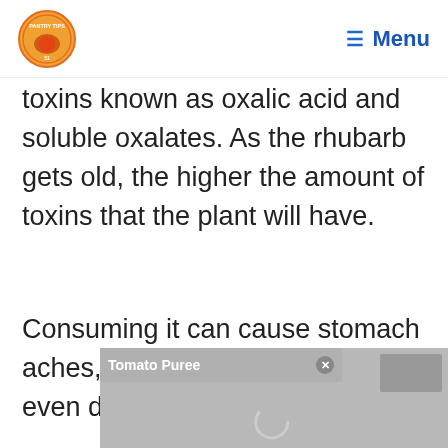PANTRY TIPS | Menu
toxins known as oxalic acid and soluble oxalates. As the rhubarb gets old, the higher the amount of toxins that the plant will have.
Consuming it can cause stomach aches, nausea, vomiting, and even death can occur.
[Figure (screenshot): Advertisement overlay showing 'Tomato Puree' banner with close button and a video loading placeholder with thumbnail]